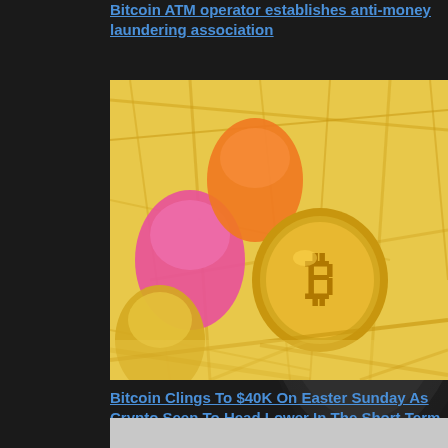Bitcoin ATM operator establishes anti-money laundering association
[Figure (photo): Photo of colored Easter eggs (pink, orange, yellow) with a gold Bitcoin coin standing upright in golden/yellow shredded paper nest]
Bitcoin Clings To $40K On Easter Sunday As Crypto Seen To Head Lower In The Short Term :
[Figure (photo): Partially visible photo at the bottom of the page, appears to be golden/straw-colored content similar to the above image]